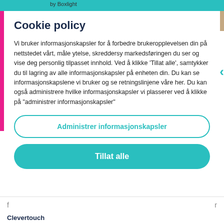by Boxlight
Cookie policy
Vi bruker informasjonskapsler for å forbedre brukeropplevelsen din på nettstedet vårt, måle ytelse, skreddersy markedsføringen du ser og vise deg personlig tilpasset innhold. Ved å klikke 'Tillat alle', samtykker du til lagring av alle informasjonskapsler på enheten din. Du kan se informasjonskapslene vi bruker og se retningslinjene våre her. Du kan også administrere hvilke informasjonskapsler vi plasserer ved å klikke på "administrer informasjonskapsler"
Administrer informasjonskapsler
Tillat alle
Clevertouch